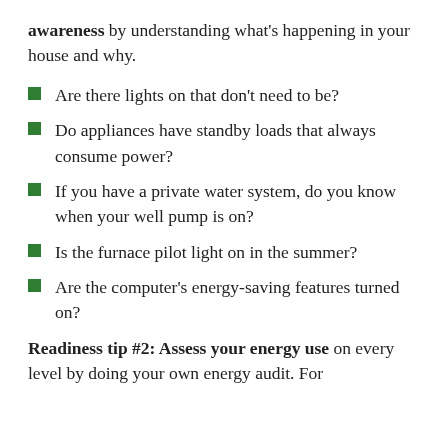awareness by understanding what's happening in your house and why.
Are there lights on that don't need to be?
Do appliances have standby loads that always consume power?
If you have a private water system, do you know when your well pump is on?
Is the furnace pilot light on in the summer?
Are the computer's energy-saving features turned on?
Readiness tip #2: Assess your energy use on every level by doing your own energy audit. For